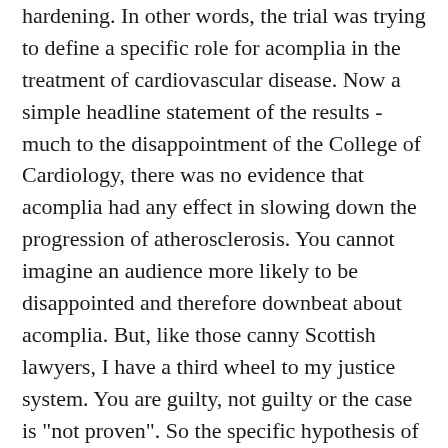hardening. In other words, the trial was trying to define a specific role for acomplia in the treatment of cardiovascular disease. Now a simple headline statement of the results - much to the disappointment of the College of Cardiology, there was no evidence that acomplia had any effect in slowing down the progression of atherosclerosis. You cannot imagine an audience more likely to be disappointed and therefore downbeat about acomplia. But, like those canny Scottish lawyers, I have a third wheel to my justice system. You are guilty, not guilty or the case is "not proven". So the specific hypothesis of the Stradivarius trial is not proven. We still do not know to what extent acomplia may or may not have a part to play in the treatment of cardiovascular disease. But the other parts of acomplia continued to play in Stradivarius according to specification.
Stradivarius had 839 participants with an average BMI 35, whose average waist measurements were 46 inches. After